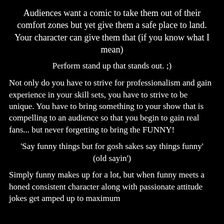Audiences want a comic to take them out of their comfort zones but yet give them a safe place to land. Your character can give them that (if you know what I mean)
Perform stand up that stands out. ;)
Not only do you have to strive for professionalism and gain experience in your skill sets, you have to strive to be unique. You have to bring something to your show that is compelling to an audience so that you begin to gain real fans... but never forgetting to bring the FUNNY!
'Say funny things but for gosh sakes say things funny' (old sayin')
Simply funny makes up for a lot, but when funny meets a honed consistent character along with passionate attitude jokes get amped up to maximum